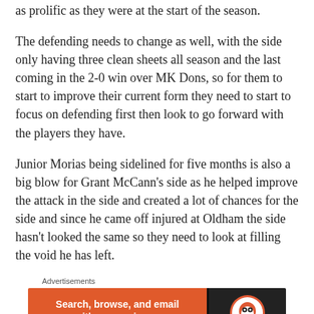as prolific as they were at the start of the season.
The defending needs to change as well, with the side only having three clean sheets all season and the last coming in the 2-0 win over MK Dons, so for them to start to improve their current form they need to start to focus on defending first then look to go forward with the players they have.
Junior Morias being sidelined for five months is also a big blow for Grant McCann’s side as he helped improve the attack in the side and created a lot of chances for the side and since he came off injured at Oldham the side hasn’t looked the same so they need to look at filling the void he has left.
[Figure (other): DuckDuckGo advertisement banner: orange background with text 'Search, browse, and email with more privacy. All in One Free App' and DuckDuckGo logo on dark right panel.]
Let us know what you think: Posh fans, what needs to